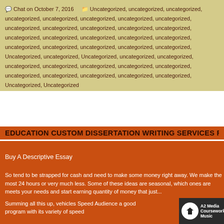💬 Chat on October 7, 2016   📁 Uncategorized, uncategorized, uncategorized, uncategorized, uncategorized, uncategorized, uncategorized, uncategorized, uncategorized, uncategorized, uncategorized, uncategorized, uncategorized, uncategorized, uncategorized, uncategorized, uncategorized, uncategorized, uncategorized, uncategorized, uncategorized, uncategorized, uncategorized, uncategorized, uncategorized, uncategorized, uncategorized, uncategorized, uncategorized, uncategorized, uncategorized, uncategorized, uncategorized, uncategorized, Uncategorized, uncategorized, Uncategorized, uncategorized, uncategorized, uncategorized, uncategorized, uncategorized, uncategorized, uncategorized, uncategorized, uncategorized, uncategorized, uncategorized, uncategorized, Uncategorized, Uncategorized
EDUCATION CUSTOM DISSERTATION WRITING SERVICES FAST ESSYW...
Buy A Descriptive Essay
So tend to be strapped for cash and need to make some money right away. We make the most 24 hours or very much less. Some of these ideas are seasonal, which ones are meets your needs and start earning quantity of money that just...
Summing all this up, vehicles Speed Audience a good program with its variety of speed
[Figure (screenshot): Video thumbnail showing A2 Media Coursework Music video with eagle logo circle and dark background]